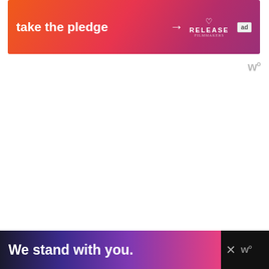[Figure (other): Orange-to-pink gradient advertisement banner reading 'take the pledge' with an arrow, RELEASE logo with heart icon, and 'ad' badge]
You can also freeze these potatoes, place them into an freezer-safe container or freezer-safe bag. They will last for 4 to 5 months.
To reheat the potatoes place them into th air freyr basket for 8 to 10 minutes.
[Figure (other): Bottom advertisement banner on dark background reading 'We stand with you.' with a close button and watermark logo]